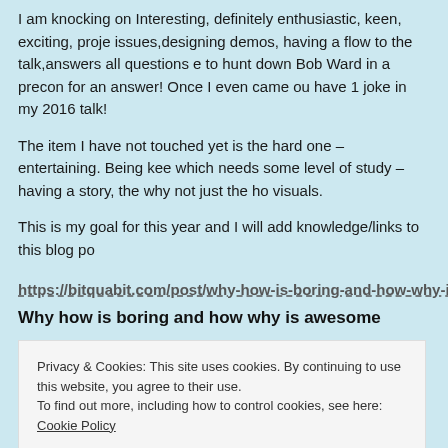I am knocking on Interesting, definitely enthusiastic, keen, exciting, project issues,designing demos, having a flow to the talk,answers all questions e to hunt down Bob Ward in a precon for an answer! Once I even came out have 1 joke in my 2016 talk!
The item I have not touched yet is the hard one – entertaining. Being keen which needs some level of study – having a story, the why not just the how visuals.
This is my goal for this year and I will add knowledge/links to this blog po
https://bitquabit.com/post/why-how-is-boring-and-how-why-is-awe
Why how is boring and how why is awesome
Privacy & Cookies: This site uses cookies. By continuing to use this website, you agree to their use.
To find out more, including how to control cookies, see here: Cookie Policy
Close and accept